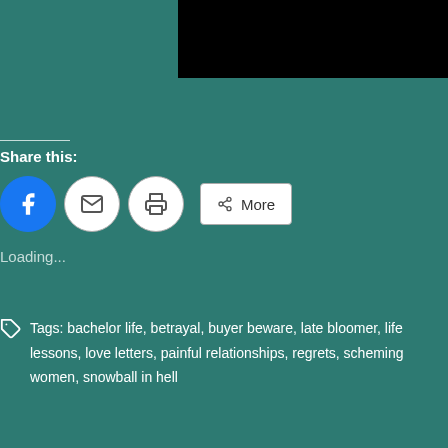[Figure (other): Black rectangle in top right corner, teal background top area]
Share this:
[Figure (other): Social sharing buttons: Facebook (blue circle), Email (envelope circle), Print (printer circle), More button with share icon]
Loading...
Tags: bachelor life, betrayal, buyer beware, late bloomer, life lessons, love letters, painful relationships, regrets, scheming women, snowball in hell